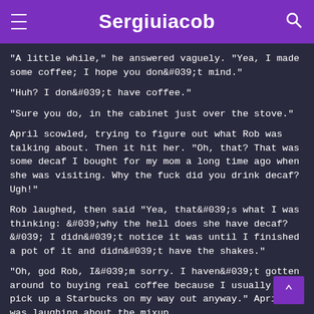Sergiuiacob
"A little while," he answered vaguely. "Yea, I made some coffee; I hope you don&#039;t mind."
"Huh? I don&#039;t have coffee."
"Sure you do, in the cabinet just over the stove."
April scowled, trying to figure out what Rob was talking about. Then it hit her. "Oh, that? That was some decaf I bought for my mom a long time ago when she was visiting. Why the fuck did you drink decaf? Ugh!"
Rob laughed, then said "Yea, that&#039;s what I was thinking: &#039;why the hell does she have decaf? &#039; I didn&#039;t notice it was until I finished a pot of it and didn&#039;t have the shakes."
"Oh, god Rob, I&#039;m sorry. I haven&#039;t gotten around to buying real coffee because I usually just pick up a Starbucks on my way out anyway." April was laughing about the mixup.
"Oh, it&#039;s fine," Rob said. "I can go pick us up so if you want."